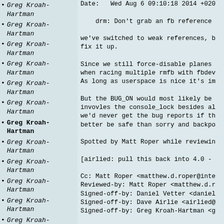Greg Kroah-Hartman
Greg Kroah-Hartman
Greg Kroah-Hartman
Greg Kroah-Hartman
Greg Kroah-Hartman
Greg Kroah-Hartman
Greg Kroah-Hartman (bold/square bullet)
Greg Kroah-Hartman
Greg Kroah-Hartman
Greg Kroah-Hartman
Greg Kroah-Hartman
Greg Kroah-Hartman
Greg Kroah-Hartman
Greg Kroah-Hartman
Greg Kroah-
Date:   Wed Aug 6 09:10:18 2014 +020

    drm: Don't grab an fb reference

we've switched to weak references, b
fix it up.

Since we still force-disable planes
when racing multiple rmfb with fbdev
As long as userspace is nice it's im

But the BUG_ON would most likely be
invovles the console_lock besides al
we'd never get the bug reports if th
better be safe than sorry and backpo

Spotted by Matt Roper while reviewin

[airlied: pull this back into 4.0 -

Cc: Matt Roper <matthew.d.roper@inte
Reviewed-by: Matt Roper <matthew.d.r
Signed-off-by: Daniel Vetter <daniel
Signed-off-by: Dave Airlie <airlied@
Signed-off-by: Greg Kroah-Hartman <g

---
 drivers/gpu/drm/drm_crtc.c |  13 +
 1 file changed, 1 insertion(+), 12